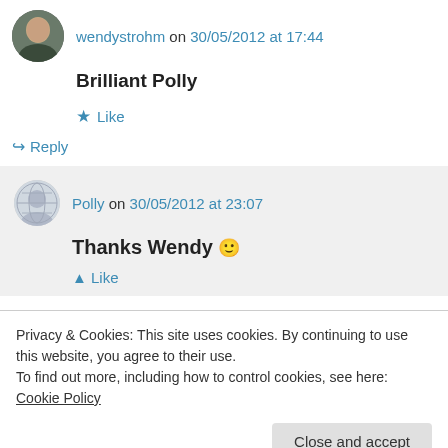wendystrohm on 30/05/2012 at 17:44
Brilliant Polly
★ Like
↪ Reply
Polly on 30/05/2012 at 23:07
Thanks Wendy 🙂
Privacy & Cookies: This site uses cookies. By continuing to use this website, you agree to their use. To find out more, including how to control cookies, see here: Cookie Policy
Close and accept
Ha ha! This one made me laugh. I think you've